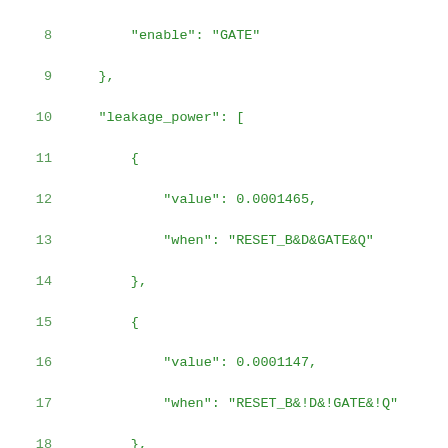Code listing lines 8-28 showing JSON structure with leakage_power array entries containing value and when fields